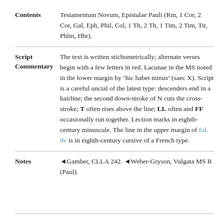| Field | Value |
| --- | --- |
| Contents | Testamentum Novum, Epistulae Pauli (Rm, 1 Cor, 2 Cor, Gal, Eph, Phil, Col, 1 Th, 2 Th, 1 Tim, 2 Tim, Tit, Phlm, Hbr). |
| Script Commentary | The text is written stichometrically; alternate verses begin with a few letters in red. Lacunae in the MS noted in the lower margin by ‘hic habet minus’ (saec X). Script is a careful uncial of the latest type: descenders end in a hairline; the second down-stroke of N cuts the cross-stroke; T often rises above the line; LL often and FF occasionally run together. Lection marks in eighth-century minuscule. The line in the upper margin of fol. 9v is in eighth-century cursive of a French type. |
| Notes | ◄Gamber, CLLA 242. ◄Weber-Gryson, Vulgata MS R (Paul). |